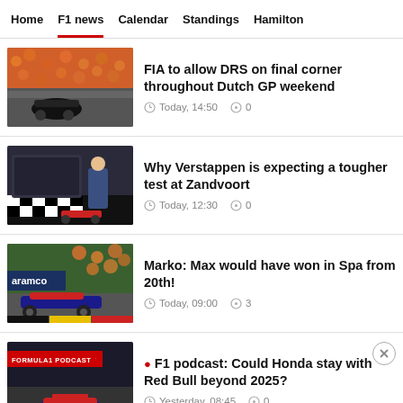Home | F1 news | Calendar | Standings | Hamilton
FIA to allow DRS on final corner throughout Dutch GP weekend
Today, 14:50   0
Why Verstappen is expecting a tougher test at Zandvoort
Today, 12:30   0
Marko: Max would have won in Spa from 20th!
Today, 09:00   3
F1 podcast: Could Honda stay with Red Bull beyond 2025?
Yesterday, 08:45   0